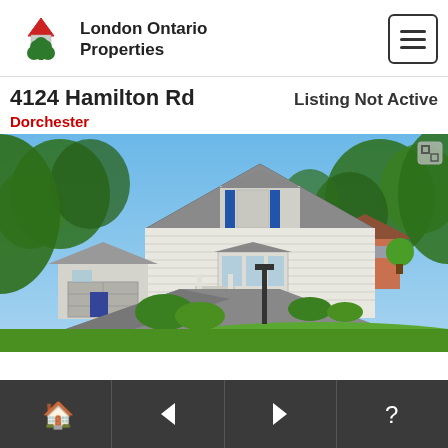London Ontario Properties
4124 Hamilton Rd
Listing Not Active
Dorchester
[Figure (photo): Exterior photo of a white two-storey cottage-style house at 4124 Hamilton Rd, Dorchester, with blue shutters, bay window, attached garage, large trees and landscaped lawn on a sunny day.]
Navigation bar with home/bookmark, left arrow, right arrow, and help icons